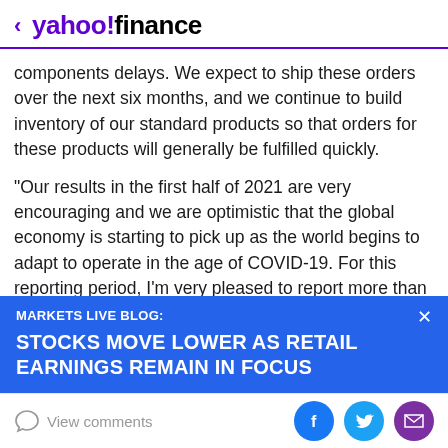< yahoo!finance
components delays. We expect to ship these orders over the next six months, and we continue to build inventory of our standard products so that orders for these products will generally be fulfilled quickly.
"Our results in the first half of 2021 are very encouraging and we are optimistic that the global economy is starting to pick up as the world begins to adapt to operate in the age of COVID-19. For this reporting period, I'm very pleased to report more than 100% revenue growth to
[Figure (screenshot): Blue banner overlay: MARKETS LIVE BLOG: STOCKS MOVE LOWER AS RETAIL EARNINGS REMAIN IN FOCUS with an X close button]
View comments | social share buttons: Facebook, Twitter, Email